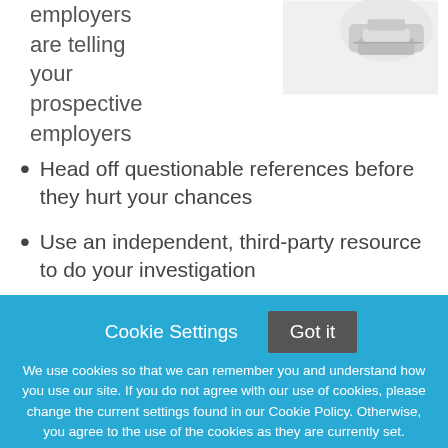employers are telling your prospective employers
[Figure (photo): A photo of a stapler or small office device, partially visible in the upper right corner]
Head off questionable references before they hurt your chances
Use an independent, third-party resource to do your investigation
You know potential employers will be calling, but do you know what your references will say?
Cookie Settings   Got it
We use cookies so that we can remember you and understand how you use our site. If you do not agree with our use of cookies, please change the current settings found in our Cookie Policy. Otherwise, you agree to the use of the cookies as they are currently set.